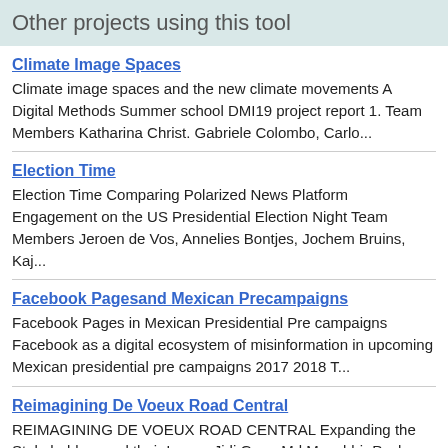Other projects using this tool
Climate Image Spaces
Climate image spaces and the new climate movements A Digital Methods Summer school DMI19 project report 1. Team Members Katharina Christ. Gabriele Colombo, Carlo...
Election Time
Election Time Comparing Polarized News Platform Engagement on the US Presidential Election Night Team Members Jeroen de Vos, Annelies Bontjes, Jochem Bruins, Kaj...
Facebook Pagesand Mexican Precampaigns
Facebook Pages in Mexican Presidential Pre campaigns Facebook as a digital ecosystem of misinformation in upcoming Mexican presidential pre campaigns 2017 2018 T...
Reimagining De Voeux Road Central
REIMAGINING DE VOEUX ROAD CENTRAL Expanding the Stakeholders and their Issues Jidi Guo , Md Mosabbir Pasha , Natalia Sanchez Querubin , Qian Yao , Shen Yang ...